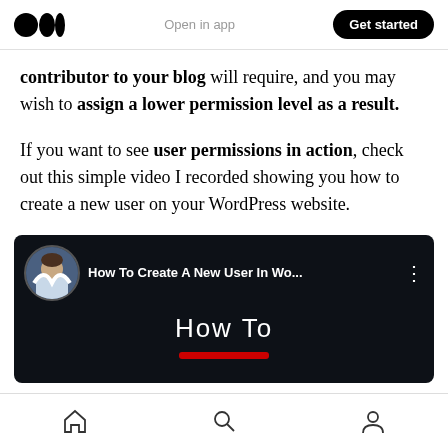Open in app | Get started
contributor to your blog will require, and you may wish to assign a lower permission level as a result.
If you want to see user permissions in action, check out this simple video I recorded showing you how to create a new user on your WordPress website.
[Figure (screenshot): Video thumbnail showing 'How To Create A New User In Wo...' with a man's avatar and WordPress logo on dark background, with text 'How To' and a red bar below]
Home | Search | Profile